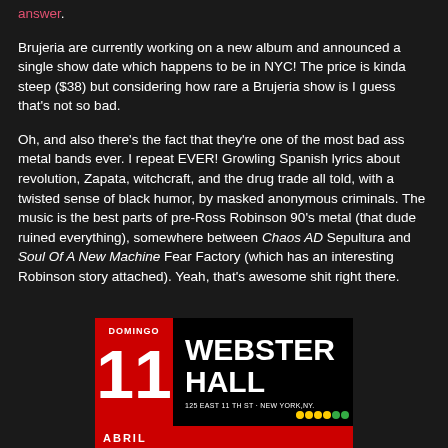answer.
Brujeria are currently working on a new album and announced a single show date which happens to be in NYC! The price is kinda steep ($38) but considering how rare a Brujeria show is I guess that's not so bad.
Oh, and also there's the fact that they're one of the most bad ass metal bands ever. I repeat EVER! Growling Spanish lyrics about revolution, Zapata, witchcraft, and the drug trade all told, with a twisted sense of black humor, by masked anonymous criminals. The music is the best parts of pre-Ross Robinson 90's metal (that dude ruined everything), somewhere between Chaos AD Sepultura and Soul Of A New Machine Fear Factory (which has an interesting Robinson story attached). Yeah, that's awesome shit right there.
[Figure (photo): Concert flyer for Brujeria at Webster Hall, New York. Shows 'DOMINGO 11' in red box on left, 'WEBSTER HALL' in large white text, address 125 East 11 Th St, New York NY with colored dots, and 'ABRIL' at the bottom in red bar.]